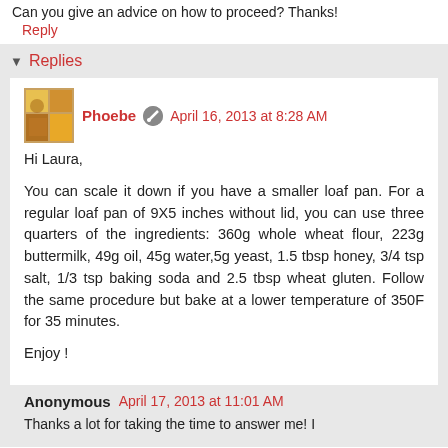Can you give an advice on how to proceed? Thanks!
Reply
Replies
Phoebe  April 16, 2013 at 8:28 AM
Hi Laura,

You can scale it down if you have a smaller loaf pan. For a regular loaf pan of 9X5 inches without lid, you can use three quarters of the ingredients: 360g whole wheat flour, 223g buttermilk, 49g oil, 45g water,5g yeast, 1.5 tbsp honey, 3/4 tsp salt, 1/3 tsp baking soda and 2.5 tbsp wheat gluten. Follow the same procedure but bake at a lower temperature of 350F for 35 minutes.

Enjoy !
Anonymous  April 17, 2013 at 11:01 AM
Thanks a lot for taking the time to answer me! I